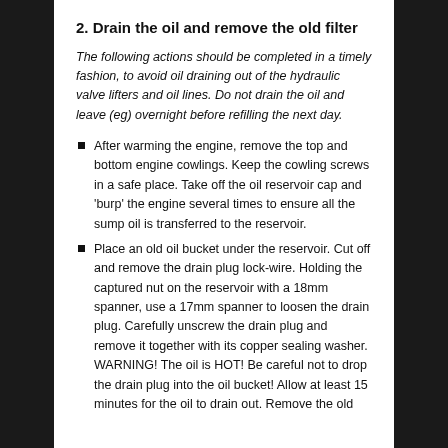2. Drain the oil and remove the old filter
The following actions should be completed in a timely fashion, to avoid oil draining out of the hydraulic valve lifters and oil lines. Do not drain the oil and leave (eg) overnight before refilling the next day.
After warming the engine, remove the top and bottom engine cowlings. Keep the cowling screws in a safe place. Take off the oil reservoir cap and 'burp' the engine several times to ensure all the sump oil is transferred to the reservoir.
Place an old oil bucket under the reservoir. Cut off and remove the drain plug lock-wire. Holding the captured nut on the reservoir with a 18mm spanner, use a 17mm spanner to loosen the drain plug. Carefully unscrew the drain plug and remove it together with its copper sealing washer. WARNING! The oil is HOT! Be careful not to drop the drain plug into the oil bucket! Allow at least 15 minutes for the oil to drain out. Remove the old